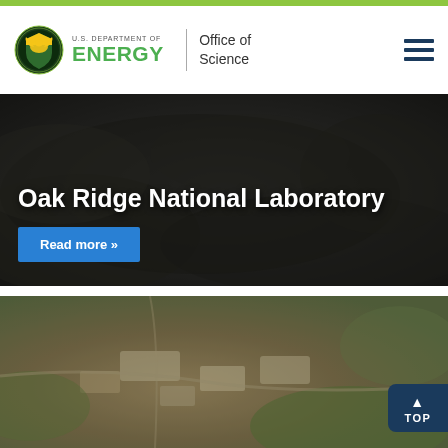[Figure (logo): U.S. Department of Energy Office of Science logo with circular seal and green ENERGY wordmark, plus hamburger menu icon]
[Figure (photo): Hero banner with blurred dark aerial/landscape background showing Oak Ridge National Laboratory title in white bold text and a blue Read more button]
Oak Ridge National Laboratory
Read more »
[Figure (photo): Blurred aerial photograph of Oak Ridge National Laboratory facility showing buildings and surrounding landscape, with a dark blue TOP navigation button in the bottom-right corner]